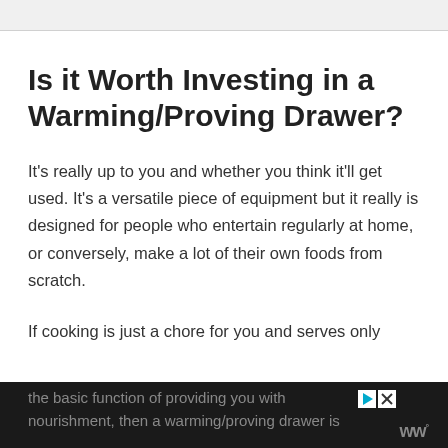Is it Worth Investing in a Warming/Proving Drawer?
It's really up to you and whether you think it'll get used. It's a versatile piece of equipment but it really is designed for people who entertain regularly at home, or conversely, make a lot of their own foods from scratch.
If cooking is just a chore for you and serves only the basic function of providing you with nourishment, then a warming/proving drawer is